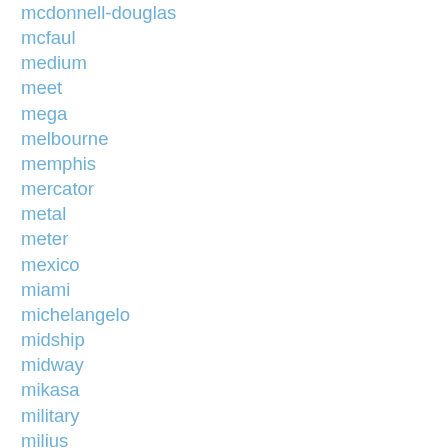mcdonnell-douglas
mcfaul
medium
meet
mega
melbourne
memphis
mercator
metal
meter
mexico
miami
michelangelo
midship
midway
mikasa
military
milius
minecraft
miniature
miss
missanabie